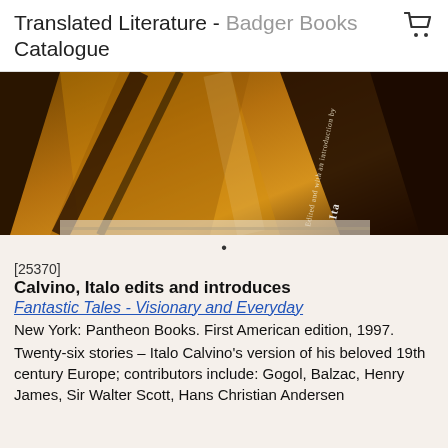Translated Literature - Badger Books Catalogue
[Figure (photo): Close-up photograph of a book spine/cover with warm golden-brown tones showing text 'Edited and with an introduction by Italo...' on the spine]
[25370]
Calvino, Italo edits and introduces
Fantastic Tales - Visionary and Everyday
New York: Pantheon Books. First American edition, 1997.
Twenty-six stories – Italo Calvino's version of his beloved 19th century Europe; contributors include: Gogol, Balzac, Henry James, Sir Walter Scott, Hans Christian Andersen